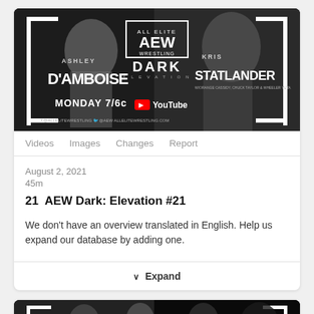[Figure (screenshot): AEW Dark: Elevation promotional image showing Ashley D'Amboise and Kris Statlander with AEW Wrestling Dark logo, Monday 7/6c on YouTube]
Videos  Images  Changes  Report
August 2, 2021
45m
21  AEW Dark: Elevation #21
We don't have an overview translated in English. Help us expand our database by adding one.
Expand
[Figure (photo): Partial thumbnail of another AEW episode showing wrestlers in black and white]